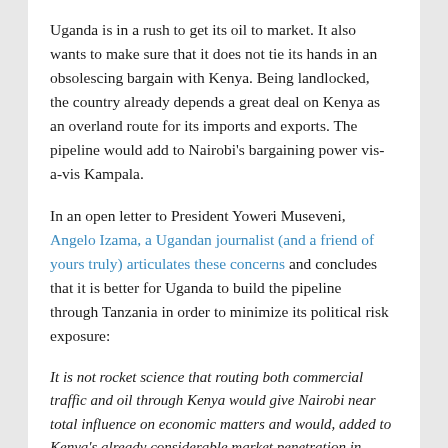Uganda is in a rush to get its oil to market. It also wants to make sure that it does not tie its hands in an obsolescing bargain with Kenya. Being landlocked, the country already depends a great deal on Kenya as an overland route for its imports and exports. The pipeline would add to Nairobi's bargaining power vis-a-vis Kampala.
In an open letter to President Yoweri Museveni, Angelo Izama, a Ugandan journalist (and a friend of yours truly) articulates these concerns and concludes that it is better for Uganda to build the pipeline through Tanzania in order to minimize its political risk exposure:
It is not rocket science that routing both commercial traffic and oil through Kenya would give Nairobi near total influence on economic matters and would, added to Kenya's already considerable market penetration in Uganda, leave little wiggle-room for unforeseen and some predictable hazards. The Ugandan domestic